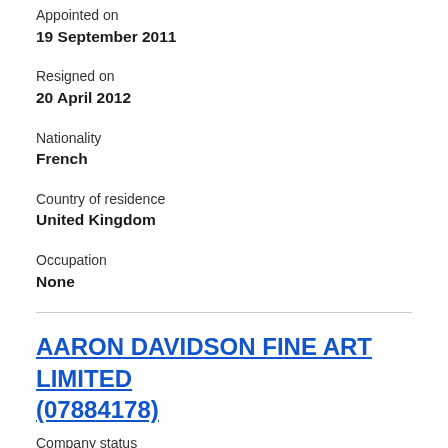Appointed on
19 September 2011
Resigned on
20 April 2012
Nationality
French
Country of residence
United Kingdom
Occupation
None
AARON DAVIDSON FINE ART LIMITED (07884178)
Company status